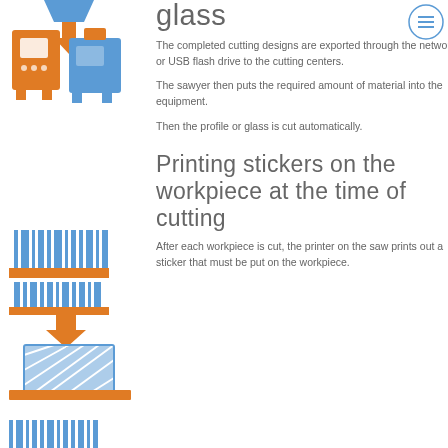[Figure (illustration): Orange and blue illustration of cutting machine equipment (CNC/saw) with funnel/hopper above]
glass
The completed cutting designs are exported through the network or USB flash drive to the cutting centers.
The sawyer then puts the required amount of material into the equipment.
Then the profile or glass is cut automatically.
[Figure (illustration): Orange and blue illustration of a sticker printer/labeler machine with barcode output and workpiece below]
Printing stickers on the workpiece at the time of cutting
After each workpiece is cut, the printer on the saw prints out a sticker that must be put on the workpiece.
[Figure (illustration): Partial orange and blue illustration at bottom left (barcode/sticker printer), partially visible]